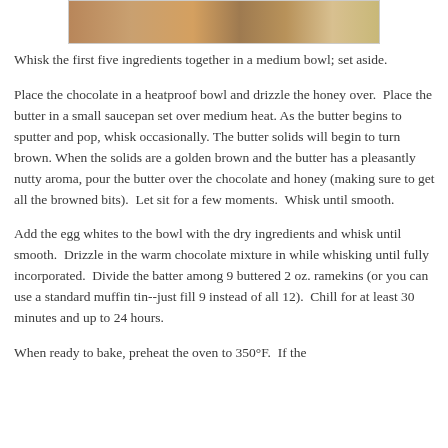[Figure (photo): Partial image of food item at top of page]
Whisk the first five ingredients together in a medium bowl; set aside.
Place the chocolate in a heatproof bowl and drizzle the honey over.  Place the butter in a small saucepan set over medium heat. As the butter begins to sputter and pop, whisk occasionally. The butter solids will begin to turn brown. When the solids are a golden brown and the butter has a pleasantly nutty aroma, pour the butter over the chocolate and honey (making sure to get all the browned bits).  Let sit for a few moments.  Whisk until smooth.
Add the egg whites to the bowl with the dry ingredients and whisk until smooth.  Drizzle in the warm chocolate mixture in while whisking until fully incorporated.  Divide the batter among 9 buttered 2 oz. ramekins (or you can use a standard muffin tin--just fill 9 instead of all 12).  Chill for at least 30 minutes and up to 24 hours.
When ready to bake, preheat the oven to 350°F.  If the